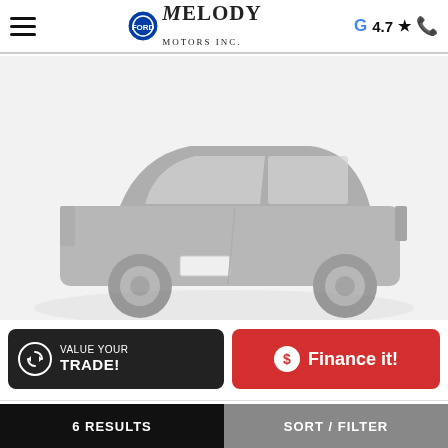[Figure (screenshot): Melody Motors Inc. dealership website header with Ford logo, hamburger menu, Google rating 4.7 stars, and phone icon]
[Figure (photo): Faded/washed-out side view of a dark Ford SUV/crossover vehicle on a white/light gray background]
VALUE YOUR TRADE!
Finance it!
FORD
$53,000
6 RESULTS
SORT / FILTER